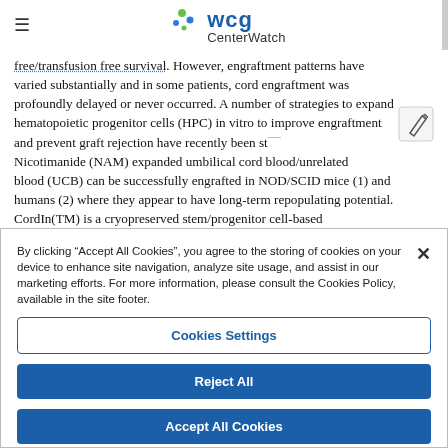WCG CenterWatch
free/transfusion free survival. However, engraftment patterns have varied substantially and in some patients, cord engraftment was profoundly delayed or never occurred. A number of strategies to expand hematopoietic progenitor cells (HPC) in vitro to improve engraftment and prevent graft rejection have recently been studied. Nicotimanide (NAM) expanded umbilical cord blood/unrelated cord blood (UCB) can be successfully engrafted in NOD/SCID mice (1) and humans (2) where they appear to have long-term repopulating potential. CordIn(TM) is a cryopreserved stem/progenitor cell-based
By clicking “Accept All Cookies”, you agree to the storing of cookies on your device to enhance site navigation, analyze site usage, and assist in our marketing efforts. For more information, please consult the Cookies Policy, available in the site footer.
Cookies Settings
Reject All
Accept All Cookies